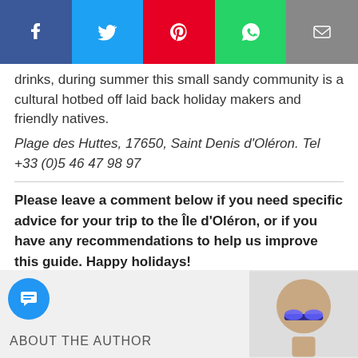[Figure (other): Social sharing bar with Facebook (blue), Twitter (light blue), Pinterest (red), WhatsApp (green), and Email (grey) buttons]
drinks, during summer this small sandy community is a cultural hotbed off laid back holiday makers and friendly natives.
Plage des Huttes, 17650, Saint Denis d'Oléron. Tel +33 (0)5 46 47 98 97
Please leave a comment below if you need specific advice for your trip to the Île d'Oléron, or if you have any recommendations to help us improve this guide. Happy holidays!
ABOUT THE AUTHOR